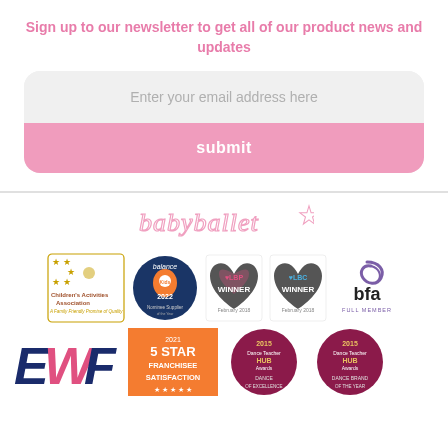Sign up to our newsletter to get all of our product news and updates
Enter your email address here
submit
[Figure (logo): babyballet logo with star]
[Figure (infographic): Row of award badges: Children's Activities Association, Kids Award 2022, LBP Winner, LBC Winner, BFA Full Member]
[Figure (infographic): Row of award badges: EMF logo, 5 Star Franchisee Satisfaction 2021, Dance Teacher Hub Awards 2015, Dance Brand of the Year 2015]